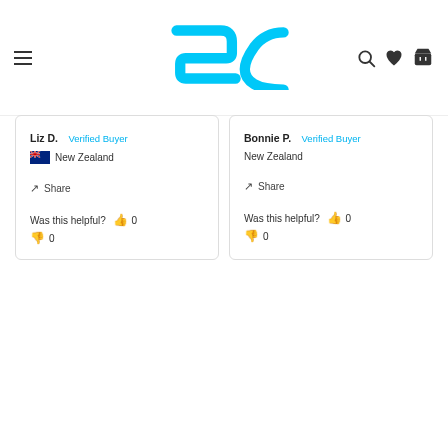[Figure (logo): Supplements.co.nz logo in cyan/blue with SC initials and text SUPPLEMENTS.CO.NZ]
Liz D.  Verified Buyer
New Zealand
Share
Was this helpful? 0
0
Bonnie P.  Verified Buyer
New Zealand
Share
Was this helpful? 0
0